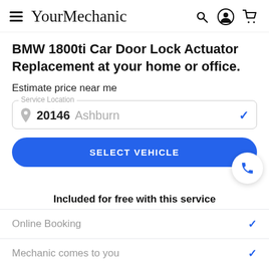YourMechanic
BMW 1800ti Car Door Lock Actuator Replacement at your home or office.
Estimate price near me
Service Location: 20146 Ashburn
SELECT VEHICLE
Included for free with this service
Online Booking
Mechanic comes to you